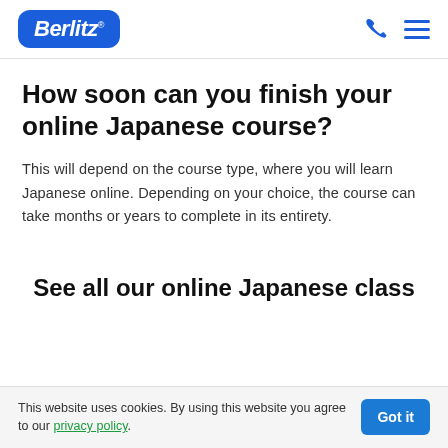Berlitz
How soon can you finish your online Japanese course?
This will depend on the course type, where you will learn Japanese online. Depending on your choice, the course can take months or years to complete in its entirety.
See all our online Japanese class
This website uses cookies. By using this website you agree to our privacy policy.